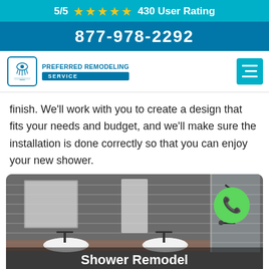5/5 ★★★★★ 430 User Rating
877-978-2292
[Figure (logo): Preferred Remodeling Service logo with shower icon and navigation menu button]
finish. We'll work with you to create a design that fits your needs and budget, and we'll make sure the installation is done correctly so that you can enjoy your new shower.
[Figure (photo): Modern bathroom with vessel sinks, wall-mounted faucets, and glass shower enclosure with gray tile walls. Green phone call button overlay in top right corner.]
Shower Remodel
Aberdeen - Washington